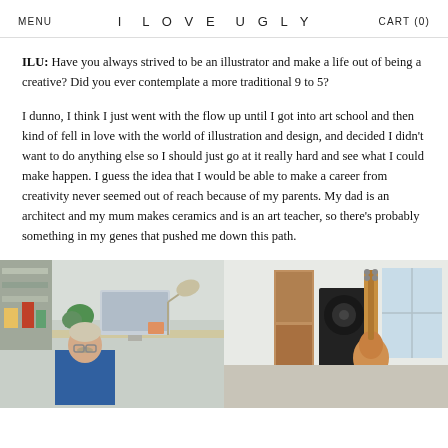MENU   I LOVE UGLY   CART (0)
ILU: Have you always strived to be an illustrator and make a life out of being a creative? Did you ever contemplate a more traditional 9 to 5?
I dunno, I think I just went with the flow up until I got into art school and then kind of fell in love with the world of illustration and design, and decided I didn't want to do anything else so I should just go at it really hard and see what I could make happen. I guess the idea that I would be able to make a career from creativity never seemed out of reach because of my parents. My dad is an architect and my mum makes ceramics and is an art teacher, so there's probably something in my genes that pushed me down this path.
[Figure (photo): Two side-by-side photos: left photo shows a young man with a mustache sitting at a desk in a creative studio workspace with shelves, a monitor, a lamp and plants; right photo shows a room with a guitar leaning against shelving unit, a speaker and window in background.]